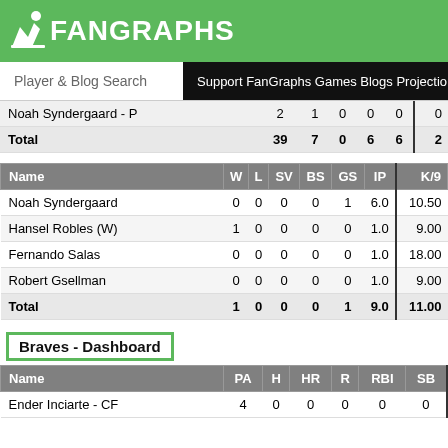FanGraphs
Player & Blog Search  Support FanGraphs Games Blogs Projectio
| Name | W | L | SV | BS | GS | IP | K/9 |
| --- | --- | --- | --- | --- | --- | --- | --- |
| Noah Syndergaard - P | 2 | 1 | 0 | 0 | 0 | 0 |
| Total | 39 | 7 | 0 | 6 | 6 | 2 |
| Name | W | L | SV | BS | GS | IP | K/9 |
| --- | --- | --- | --- | --- | --- | --- | --- |
| Noah Syndergaard | 0 | 0 | 0 | 0 | 1 | 6.0 | 10.50 |
| Hansel Robles (W) | 1 | 0 | 0 | 0 | 0 | 1.0 | 9.00 |
| Fernando Salas | 0 | 0 | 0 | 0 | 0 | 1.0 | 18.00 |
| Robert Gsellman | 0 | 0 | 0 | 0 | 0 | 1.0 | 9.00 |
| Total | 1 | 0 | 0 | 0 | 1 | 9.0 | 11.00 |
Braves - Dashboard
| Name | PA | H | HR | R | RBI | SB |
| --- | --- | --- | --- | --- | --- | --- |
| Ender Inciarte - CF | 4 | 0 | 0 | 0 | 0 | 0 |